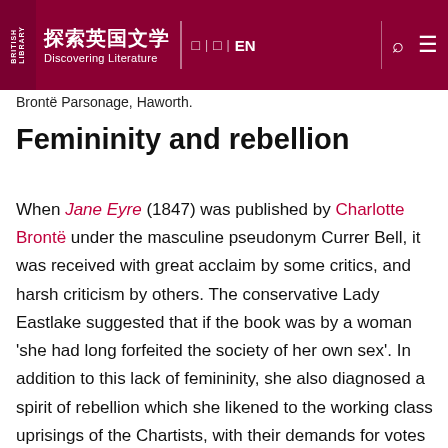探索英国文学 | Discovering Literature | EN
Brontë Parsonage, Haworth.
Femininity and rebellion
When Jane Eyre (1847) was published by Charlotte Brontë under the masculine pseudonym Currer Bell, it was received with great acclaim by some critics, and harsh criticism by others. The conservative Lady Eastlake suggested that if the book was by a woman 'she had long forfeited the society of her own sex'. In addition to this lack of femininity, she also diagnosed a spirit of rebellion which she likened to the working class uprisings of the Chartists, with their demands for votes for the working people, and also the political revolutions